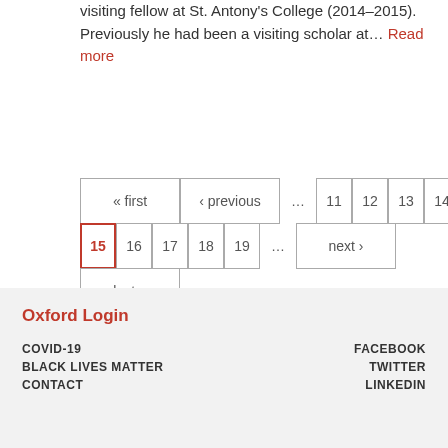visiting fellow at St. Antony's College (2014–2015). Previously he had been a visiting scholar at… Read more
Pagination: « first, ‹ previous, …, 11, 12, 13, 14, 15 (current), 16, 17, 18, 19, …, next ›, last »
Oxford Login | COVID-19 | BLACK LIVES MATTER | CONTACT | FACEBOOK | TWITTER | LINKEDIN